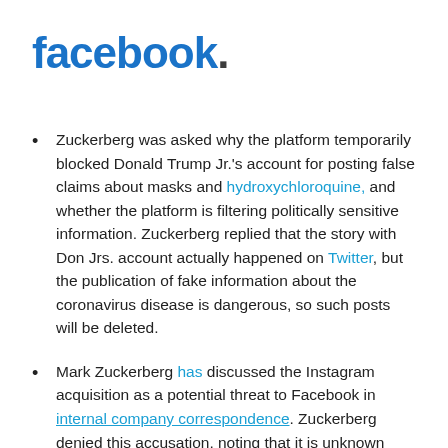facebook.
Zuckerberg was asked why the platform temporarily blocked Donald Trump Jr.'s account for posting false claims about masks and hydroxychloroquine, and whether the platform is filtering politically sensitive information. Zuckerberg replied that the story with Don Jrs. account actually happened on Twitter, but the publication of fake information about the coronavirus disease is dangerous, so such posts will be deleted.
Mark Zuckerberg has discussed the Instagram acquisition as a potential threat to Facebook in internal company correspondence. Zuckerberg denied this accusation, noting that it is unknown whether Instagram would have become successful on its own or